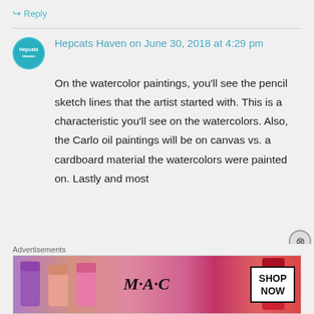↪ Reply
Hepcats Haven on June 30, 2018 at 4:29 pm
On the watercolor paintings, you'll see the pencil sketch lines that the artist started with. This is a characteristic you'll see on the watercolors. Also, the Carlo oil paintings will be on canvas vs. a cardboard material the watercolors were painted on. Lastly and most
Advertisements
[Figure (photo): MAC cosmetics advertisement showing lipsticks in purple, pink, and red shades with MAC logo and SHOP NOW text box]